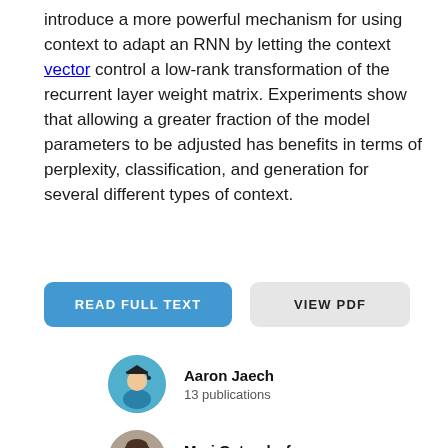introduce a more powerful mechanism for using context to adapt an RNN by letting the context vector control a low-rank transformation of the recurrent layer weight matrix. Experiments show that allowing a greater fraction of the model parameters to be adjusted has benefits in terms of perplexity, classification, and generation for several different types of context.
[Figure (other): Two buttons side by side: blue 'READ FULL TEXT' button and gray 'VIEW PDF' button]
[Figure (other): Author avatar for Aaron Jaech - illustrated student icon with graduation cap on teal/blue circular background]
Aaron Jaech
13 publications
[Figure (photo): Author photo of Mari Ostendorf - circular portrait photo of a woman with short dark hair and glasses]
Mari Ostendorf
43 publications
Related Research